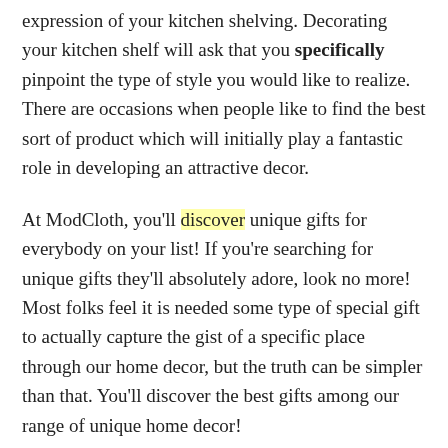expression of your kitchen shelving. Decorating your kitchen shelf will ask that you specifically pinpoint the type of style you would like to realize. There are occasions when people like to find the best sort of product which will initially play a fantastic role in developing an attractive decor.
At ModCloth, you'll discover unique gifts for everybody on your list! If you're searching for unique gifts they'll absolutely adore, look no more! Most folks feel it is needed some type of special gift to actually capture the gist of a specific place through our home decor, but the truth can be simpler than that. You'll discover the best gifts among our range of unique home decor!
Employing several little rugs is much better than one huge one since they're much simpler to wash. You truly require many different bathroom rugs to cover the ground.The carpets and rugs are among the typical piece that tend to provide an attractive decor in a ideas